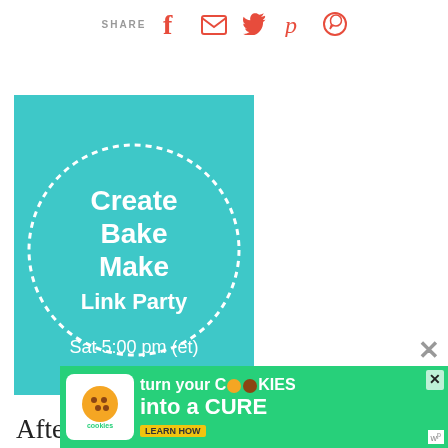SHARE [social icons: Facebook, Email, Twitter, Pinterest, WhatsApp]
[Figure (illustration): Teal/turquoise square with dotted circle border containing text: Create Bake Make Link Party, Sat 5:00 pm (et)]
After you link up at the party, follow all of the co-hosts on Pinterest and then send an email request to join our Group Party Board to acrosstheblvd@gmail.com. Please include a link to your Pinterest Profile, a link to your blog, and
[Figure (screenshot): What's Next popup showing thumbnail and text: Snickerdoodle Create Bake...]
[Figure (infographic): Ad banner: cookies for kids cancer - turn your COOKIES into a CURE LEARN HOW]